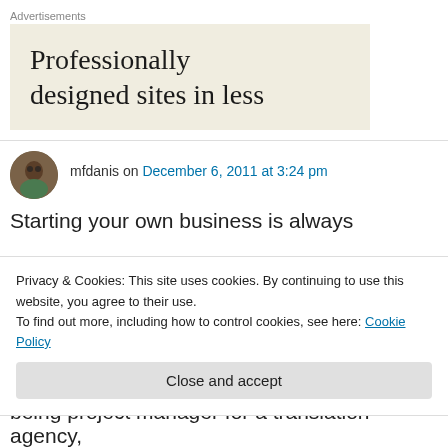Advertisements
[Figure (other): Advertisement banner with beige background showing text 'Professionally designed sites in less']
mfdanis on December 6, 2011 at 3:24 pm
Starting your own business is always
Privacy & Cookies: This site uses cookies. By continuing to use this website, you agree to their use.
To find out more, including how to control cookies, see here: Cookie Policy
Close and accept
being project manager for a translation agency,